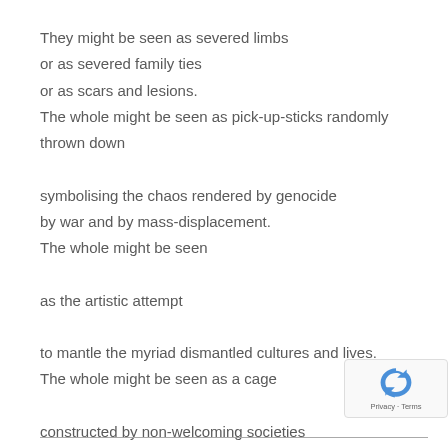They might be seen as severed limbs
or as severed family ties
or as scars and lesions.
The whole might be seen as pick-up-sticks randomly thrown down
symbolising the chaos rendered by genocide
by war and by mass-displacement.
The whole might be seen
as the artistic attempt
to mantle the myriad dismantled cultures and lives.
The whole might be seen as a cage
constructed by non-welcoming societies
as they protect themselves from the perceived threat
of the Displaced and the Dispossessed.